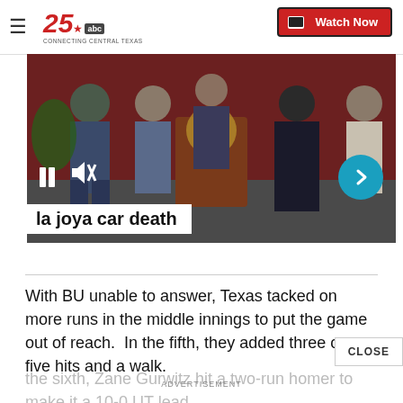25 ABC CONNECTING CENTRAL TEXAS — Watch Now
[Figure (screenshot): Video screenshot showing people standing at a podium in a press conference setting, with a caption overlay reading 'la joya car death'. Video controls visible including pause and mute buttons, and a teal next arrow button.]
la joya car death
With BU unable to answer, Texas tacked on more runs in the middle innings to put the game out of reach.  In the fifth, they added three on five hits and a walk.
the sixth, Zane Gurwitz hit a two-run homer to make it a 10-0 UT lead.